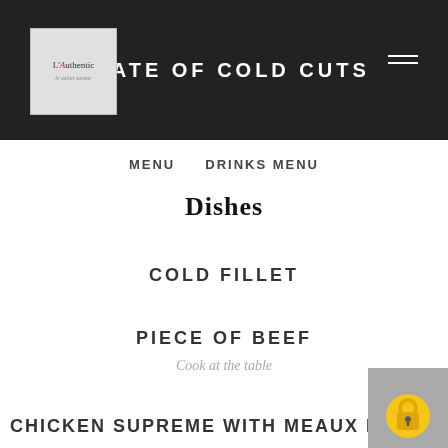[Figure (logo): L'Authentic restaurant logo in a light gray square box]
PLATE OF COLD CUTS
MENU   DRINKS MENU
Dishes
COLD FILLET
PIECE OF BEEF
Cook at the table
CHICKEN SUPREME WITH MEAUX MUSTARD